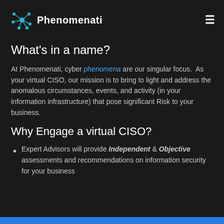Phenomenati
What's in a name?
At Phenomenati, cyber phenomena are our singular focus.  As your virtual CISO, our mission is to bring to light and address the anomalous circumstances, events, and activity (in your information infrastructure) that pose significant Risk to your business.
Why Engage a virtual CISO?
Expert Advisors will provide Independent & Objective assessments and recommendations on information security for your business